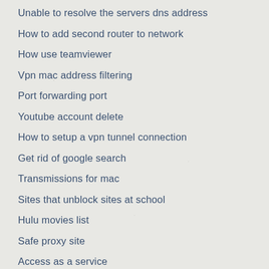Unable to resolve the servers dns address
How to add second router to network
How use teamviewer
Vpn mac address filtering
Port forwarding port
Youtube account delete
How to setup a vpn tunnel connection
Get rid of google search
Transmissions for mac
Sites that unblock sites at school
Hulu movies list
Safe proxy site
Access as a service
Vpn 732